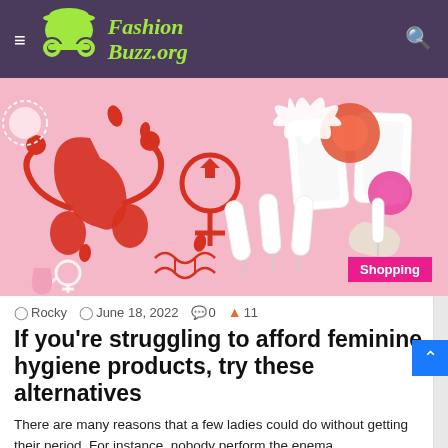FashionBuzz.org
[Figure (illustration): Flat-lay illustration of feminine hygiene products on a pink background: menstrual cup, tampons, pads, a uterus graphic, female symbol, DNA icon, and a hand holding a tampon. A pink 'Shopping' badge appears in the lower right.]
Rocky   June 18, 2022   0   11
If you're struggling to afford feminine hygiene products, try these alternatives
There are many reasons that a few ladies could do without getting their period. For instance, nobody perform the enema...